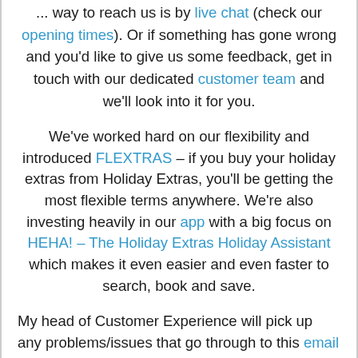... way to reach us is by live chat (check our opening times). Or if something has gone wrong and you'd like to give us some feedback, get in touch with our dedicated customer team and we'll look into it for you.

We've worked hard on our flexibility and introduced FLEXTRAS – if you buy your holiday extras from Holiday Extras, you'll be getting the most flexible terms anywhere. We're also investing heavily in our app with a big focus on HEHA! – The Holiday Extras Holiday Assistant which makes it even easier and even faster to search, book and save.

My head of Customer Experience will pick up any problems/issues that go through to this email account where they will be swiftly actioned. I personally review everything that comes in at the